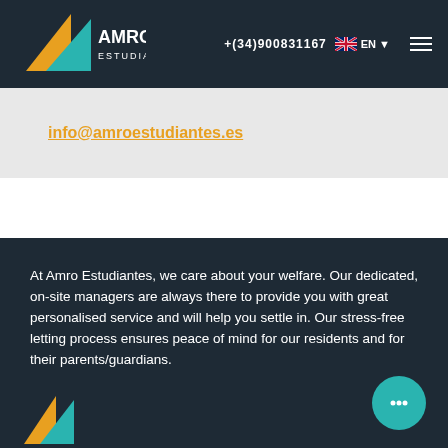+(34)900831167  EN
[Figure (logo): Amro Estudiantes logo with triangles in yellow and teal and text AMRO ESTUDIANTES]
info@amroestudiantes.es
At Amro Estudiantes, we care about your welfare. Our dedicated, on-site managers are always there to provide you with great personalised service and will help you settle in. Our stress-free letting process ensures peace of mind for our residents and for their parents/guardians.
[Figure (logo): Partial Amro Estudiantes logo at bottom left]